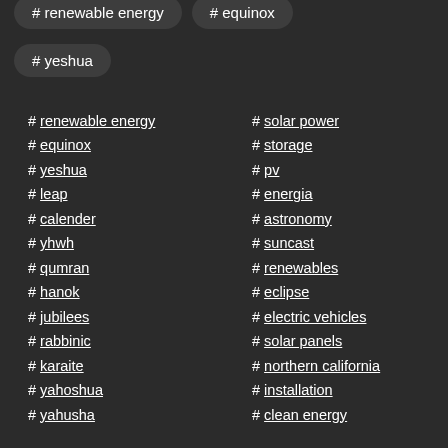# renewable energy
# equinox
# yeshua
# renewable energy
# equinox
# yeshua
# leap
# calender
# yhwh
# qumran
# hanok
# jubilees
# rabbinic
# karaite
# yahoshua
# yahusha
# solar power
# storage
# pv
# energia
# astronomy
# suncast
# renewables
# eclipse
# electric vehicles
# solar panels
# northern california
# installation
# clean energy